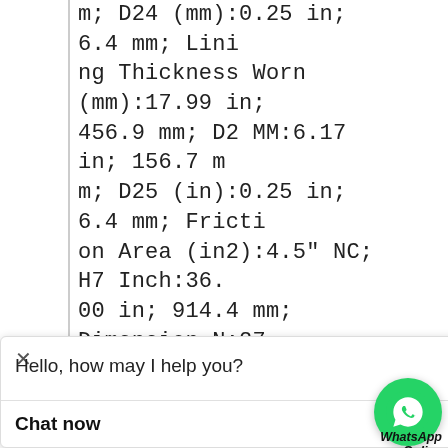m; D24 (mm):0.25 in; 6.4 mm; Lining Thickness Worn (mm):17.99 in; 456.9 mm; D2 MM:6.17 in; 156.7 mm; D25 (in):0.25 in; 6.4 mm; Friction Area (in2):4.5" NC; H7 Inch:36.00 in; 914.4 mm; Dimension N:27.00 in; 685.8 mm; Dimension S:2" - 12NF; Manufacturer:Wichita Clutch; Balance Speed:225 rpm; Assembly Number:6-060-200-302-0; Pilot Diameter C:62.750/62.760 1593.85/1594.10 mm; Maximum Bore Size:19.00 in; 480 mm; Outside Diameter B:66.500 in; 1689.10 mm; Maximum Air Pressure:130 psi; 9 bar; Total Clutch (Weight):9453 lb; 4288 kg; Total Clutch (Inertia) lbft²; 2055 kgm²; Dimension Number - Size):6 - 1/2 NP I; Weight (Hub & Center Plate):25 Number of Mounting Maximum RPM (Sta 20 rpm; WR2/J=m
[Figure (illustration): WhatsApp Online green circle button with phone icon, showing 'WhatsApp Online' label]
Hello, how may I help you?
Chat now